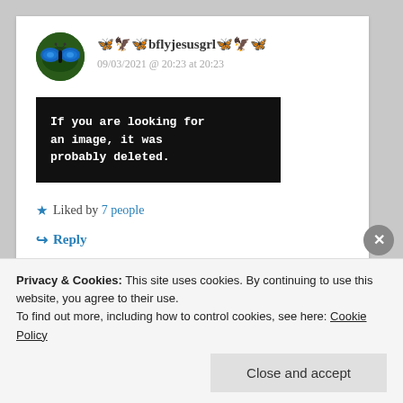🦋🦅🦋bflyjesusgrl🦋🦅🦋
09/03/2021 @ 20:23 at 20:23
[Figure (other): Black box with white monospace text: 'If you are looking for an image, it was probably deleted.']
★ Liked by 7 people
↪ Reply
Privacy & Cookies: This site uses cookies. By continuing to use this website, you agree to their use.
To find out more, including how to control cookies, see here: Cookie Policy
Close and accept